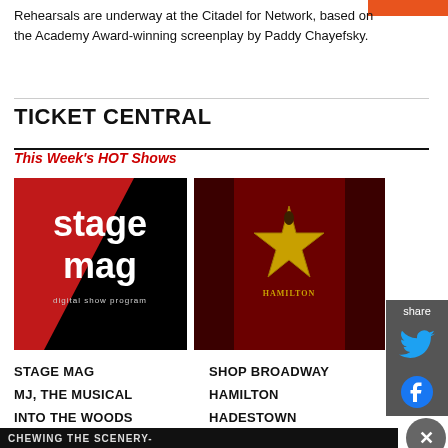Rehearsals are underway at the Citadel for Network, based on the Academy Award-winning screenplay by Paddy Chayefsky.
TICKET CENTRAL
This Week's HOT Shows
[Figure (screenshot): Stage Mag logo - red and black background with white text reading 'stage mag digital show program']
[Figure (screenshot): Hamilton musical logo - gold star on red curtain background]
STAGE MAG
SHOP BROADWAY
MJ, THE MUSICAL
HAMILTON
INTO THE WOODS
HADESTOWN
[Figure (screenshot): Share sidebar with Twitter and Facebook icons]
[Figure (screenshot): Bottom advertisement bar: The Book of Mormon - GET 2-FOR-1 TICKETS DURING NYC BROADWAY WEEK • SEPTEMBER 6-25 USE CODE BWAYWK - GET TICKETS. Also shows partial text: CHEWING THE SCENERY-]